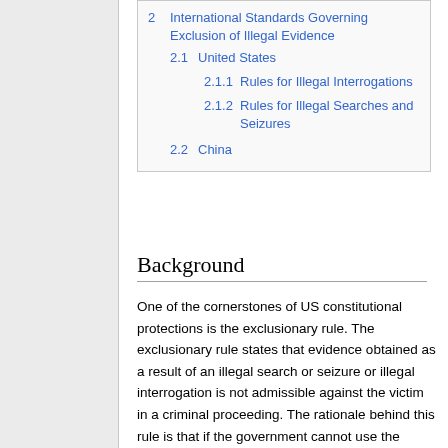2 International Standards Governing Exclusion of Illegal Evidence
2.1 United States
2.1.1 Rules for Illegal Interrogations
2.1.2 Rules for Illegal Searches and Seizures
2.2 China
Background
One of the cornerstones of US constitutional protections is the exclusionary rule. The exclusionary rule states that evidence obtained as a result of an illegal search or seizure or illegal interrogation is not admissible against the victim in a criminal proceeding. The rationale behind this rule is that if the government cannot use the evidence in